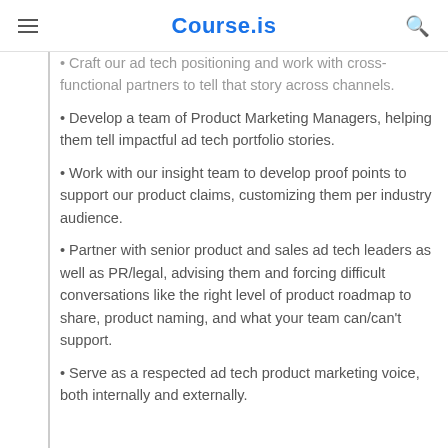Course.is
• Craft our ad tech positioning and work with cross-functional partners to tell that story across channels.
• Develop a team of Product Marketing Managers, helping them tell impactful ad tech portfolio stories.
• Work with our insight team to develop proof points to support our product claims, customizing them per industry audience.
• Partner with senior product and sales ad tech leaders as well as PR/legal, advising them and forcing difficult conversations like the right level of product roadmap to share, product naming, and what your team can/can't support.
• Serve as a respected ad tech product marketing voice, both internally and externally.